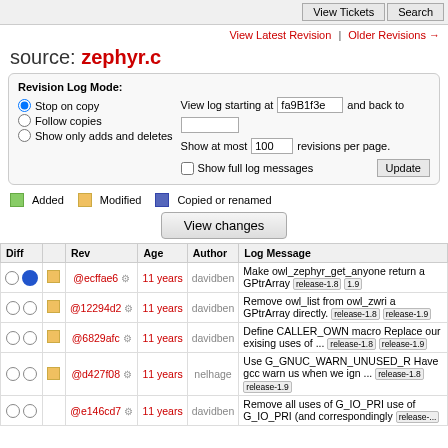View Tickets | Search
View Latest Revision | Older Revisions →
source: zephyr.c
Revision Log Mode: Stop on copy (selected), Follow copies, Show only adds and deletes. View log starting at fa9B1f3e and back to [blank]. Show at most 100 revisions per page. Show full log messages. Update button.
Added   Modified   Copied or renamed
View changes
| Diff |  | Rev | Age | Author | Log Message |
| --- | --- | --- | --- | --- | --- |
| ○ ● | ▢ | @ecffae6 ⚙ | 11 years | davidben | Make owl_zephyr_get_anyone return a GPtrArray release-1.8 1.9 |
| ○ ○ | ▢ | @12294d2 ⚙ | 11 years | davidben | Remove owl_list from owl_zwri a GPtrArray directly. release-1.8 release-1.9 |
| ○ ○ | ▢ | @6829afc ⚙ | 11 years | davidben | Define CALLER_OWN macro Replace our exising uses of ... release-1.8 release-1.9 |
| ○ ○ | ▢ | @d427f08 ⚙ | 11 years | nelhage | Use G_GNUC_WARN_UNUSED_R Have gcc warn us when we ign ... release-1.8 release-1.9 |
| ○ ○ |  | @e146cd7 ⚙ | 11 years | davidben | Remove all uses of G_IO_PRI use of G_IO_PRI (and correspondingly release-... |